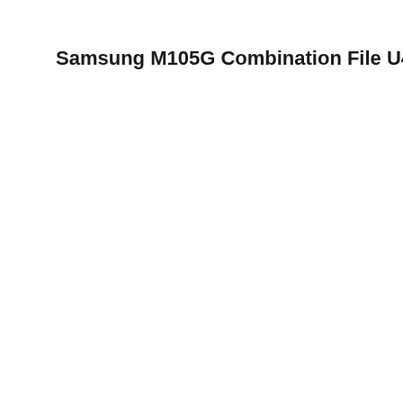Samsung M105G Combination File U4